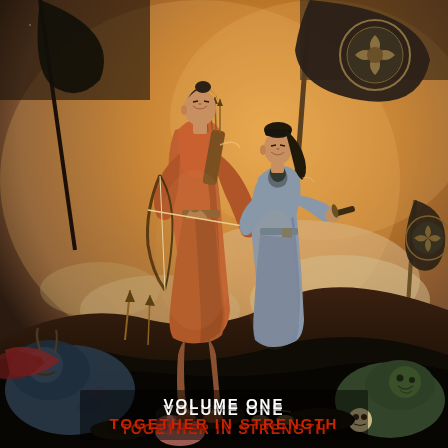[Figure (illustration): Comic book cover illustration showing two samurai warriors standing atop a dark ridge. The taller figure on the left wears an orange/rust-colored robe and carries a bow and quiver of arrows. The shorter figure on the right wears a gray-blue robe and holds a sword. Battle flags bearing a mon (family crest) wave in the background. Defeated enemies and creatures are visible below them. The background sky is golden and dramatic. Art style is stylized Western comic illustration.]
VOLUME ONE
TOGETHER IN STRENGTH